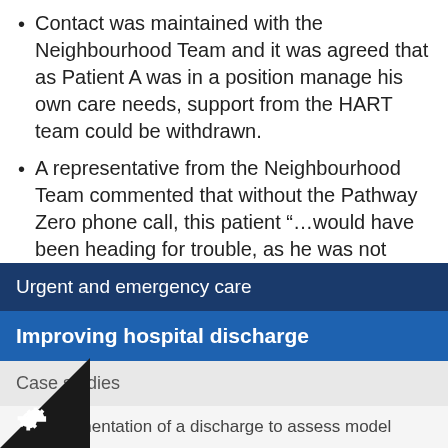Contact was maintained with the Neighbourhood Team and it was agreed that as Patient A was in a position manage his own care needs, support from the HART team could be withdrawn.
A representative from the Neighbourhood Team commented that without the Pathway Zero phone call, this patient “…would have been heading for trouble, as he was not coping at all”.
Urgent and emergency care
Improving hospital discharge
Case studies
Implementation of a discharge to assess model